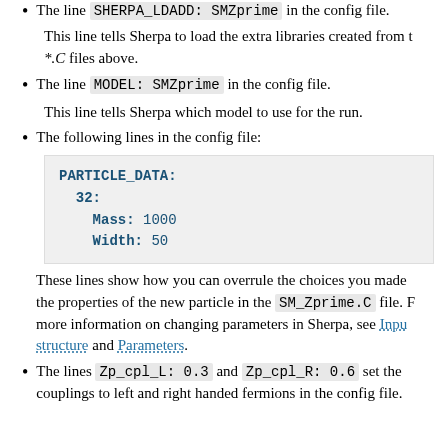The line SHERPA_LDADD: SMZprime in the config file.
This line tells Sherpa to load the extra libraries created from the *.C files above.
The line MODEL: SMZprime in the config file.
This line tells Sherpa which model to use for the run.
The following lines in the config file:
[Figure (other): Code block showing PARTICLE_DATA: 32: Mass: 1000 Width: 50]
These lines show how you can overrule the choices you made the properties of the new particle in the SM_Zprime.C file. For more information on changing parameters in Sherpa, see Input structure and Parameters.
The lines Zp_cpl_L: 0.3 and Zp_cpl_R: 0.6 set the couplings to left and right handed fermions in the config file.